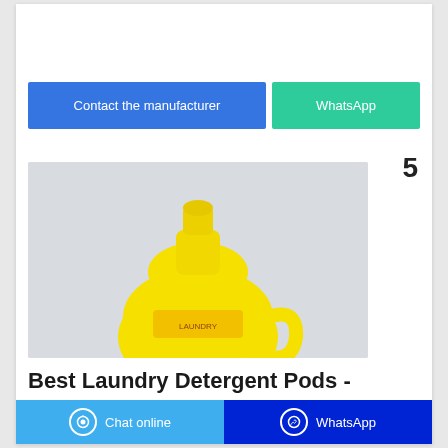[Figure (other): Two call-to-action buttons: blue 'Contact the manufacturer' and green 'WhatsApp']
5
[Figure (photo): Yellow plastic laundry detergent bottle with cap, photographed on light grey background]
Best Laundry Detergent Pods -
Chat online | WhatsApp